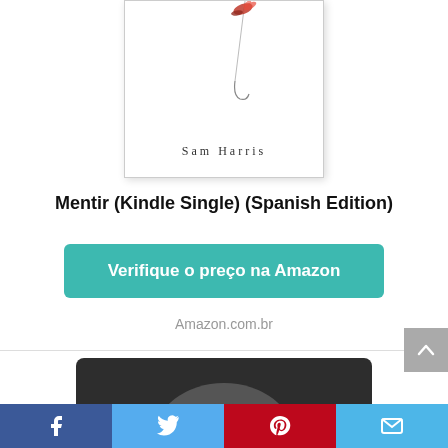[Figure (illustration): Book cover for 'Mentir (Kindle Single) (Spanish Edition)' by Sam Harris, white background with red fly/hook illustration at top, author name in spaced serif font]
Mentir (Kindle Single) (Spanish Edition)
Verifique o preço na Amazon
Amazon.com.br
[Figure (illustration): Dark background image with gray curved shapes, partially visible, appears to be another book cover or promotional image]
[Figure (illustration): Social sharing bar at bottom with Facebook, Twitter, Pinterest, and email icons]